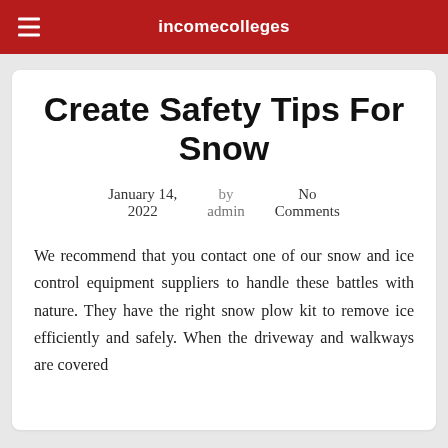incomecolleges
Create Safety Tips For Snow
January 14, 2022   by admin   No Comments
We recommend that you contact one of our snow and ice control equipment suppliers to handle these battles with nature. They have the right snow plow kit to remove ice efficiently and safely. When the driveway and walkways are covered